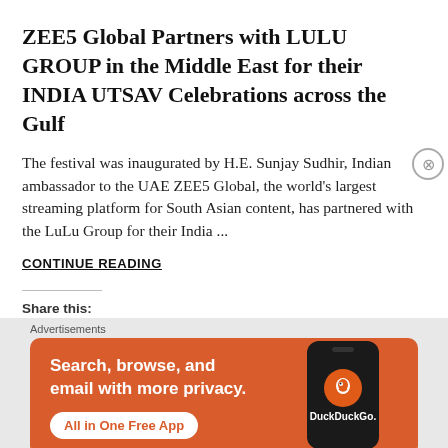ZEE5 Global Partners with LULU GROUP in the Middle East for their INDIA UTSAV Celebrations across the Gulf
The festival was inaugurated by H.E. Sunjay Sudhir, Indian ambassador to the UAE ZEE5 Global, the world's largest streaming platform for South Asian content, has partnered with the LuLu Group for their India ...
CONTINUE READING
Share this:
[Figure (infographic): DuckDuckGo advertisement banner on orange/red background. Text reads: Search, browse, and email with more privacy. All in One Free App. Shows a smartphone mockup with DuckDuckGo logo and brand name.]